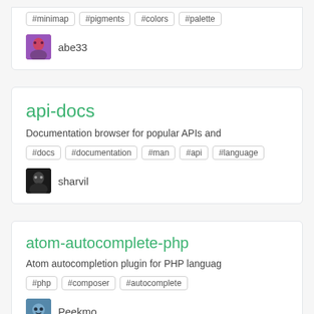Tags: #minimap #pigments #colors #palette
abe33
api-docs
Documentation browser for popular APIs and
#docs #documentation #man #api #language
sharvil
atom-autocomplete-php
Atom autocompletion plugin for PHP languag
#php #composer #autocomplete
Peekmo
(partial title cut off)